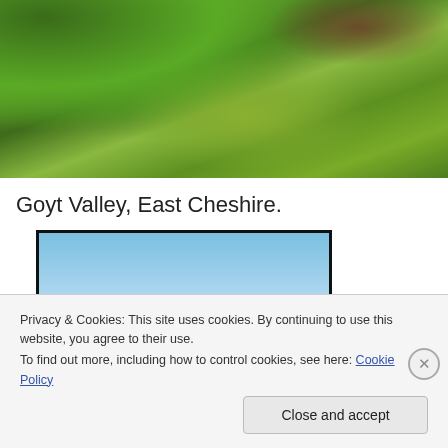[Figure (photo): Aerial/close-up view of green mossy landscape with trees at Goyt Valley, East Cheshire]
Goyt Valley, East Cheshire.
[Figure (photo): Photo of blue sky with light clouds, framed by black border, shown in a media player or photo viewer]
Privacy & Cookies: This site uses cookies. By continuing to use this website, you agree to their use.
To find out more, including how to control cookies, see here: Cookie Policy
Close and accept